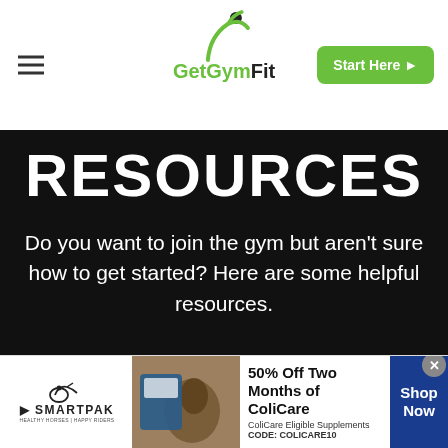GetGymFit — Start Here
RESOURCES
Do you want to join the gym but aren't sure how to get started? Here are some helpful resources.
[Figure (infographic): SmartPak advertisement banner: 50% Off Two Months of ColiCare, ColiCare Eligible Supplements, CODE: COLICARE10, Shop Now button]